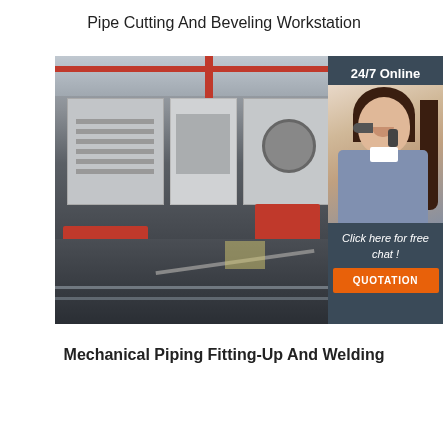Pipe Cutting And Beveling Workstation
[Figure (photo): Industrial pipe cutting and beveling workstation facility showing large grey metal container units, red equipment/machinery, overhead red crane structure, and floor tracks in an industrial warehouse setting. An overlay panel on the right shows a customer service agent with headset, '24/7 Online' label, 'Click here for free chat!' text, and an orange 'QUOTATION' button.]
Mechanical Piping Fitting-Up And Welding